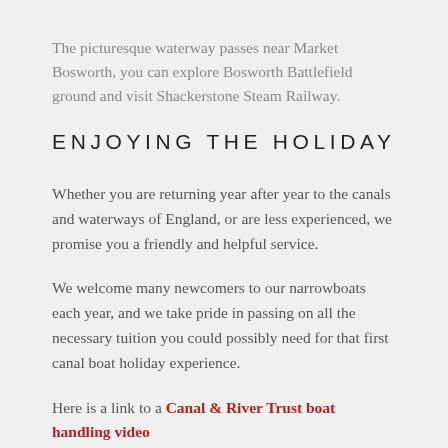The picturesque waterway passes near Market Bosworth, you can explore Bosworth Battlefield ground and visit Shackerstone Steam Railway.
ENJOYING THE HOLIDAY
Whether you are returning year after year to the canals and waterways of England, or are less experienced, we promise you a friendly and helpful service.
We welcome many newcomers to our narrowboats each year, and we take pride in passing on all the necessary tuition you could possibly need for that first canal boat holiday experience.
Here is a link to a Canal & River Trust boat handling video